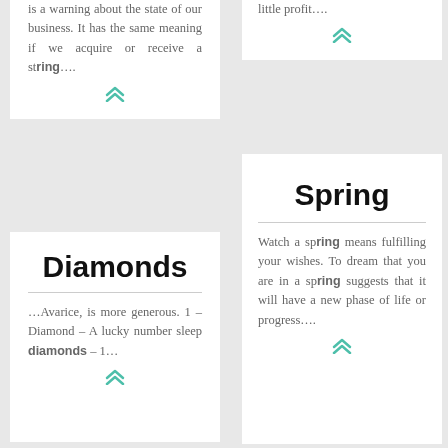is a warning about the state of our business. It has the same meaning if we acquire or receive a string….
little profit….
Diamonds
…Avarice, is more generous. 1 – Diamond – A lucky number sleep diamonds – 1…
Spring
Watch a spring means fulfilling your wishes. To dream that you are in a spring suggests that it will have a new phase of life or progress….